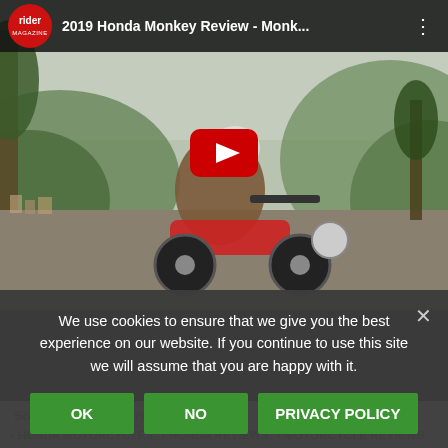[Figure (screenshot): YouTube video thumbnail showing a person riding a Honda Monkey motorcycle on a mountain road. Video title: '2019 Honda Monkey Review - Monk...' from Rider Magazine channel. Red play button in center.]
We use cookies to ensure that we give you the best experience on our website. If you continue to use this site we will assume that you are happy with it.
OK  NO  PRIVACY POLICY
Source: RiderMagazine.com
HONDA MOTORCYCLES
HONDA REVIEWS
MOTORCYCLE REVIEWS